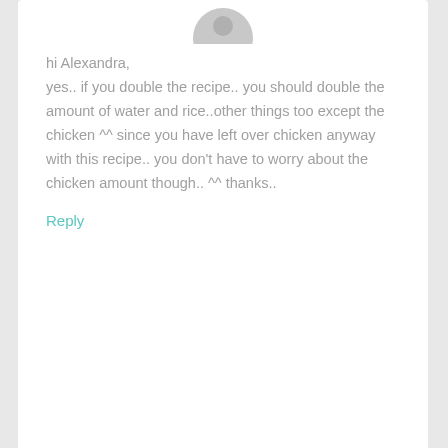[Figure (photo): Partial circular avatar image at top, cut off at top of page]
hi Alexandra,
yes.. if you double the recipe.. you should double the amount of water and rice..other things too except the chicken ^^ since you have left over chicken anyway with this recipe.. you don't have to worry about the chicken amount though.. ^^ thanks..
Reply
[Figure (illustration): Gray circular default user avatar silhouette]
Carina says
October 13, 2011 at 4:17 am